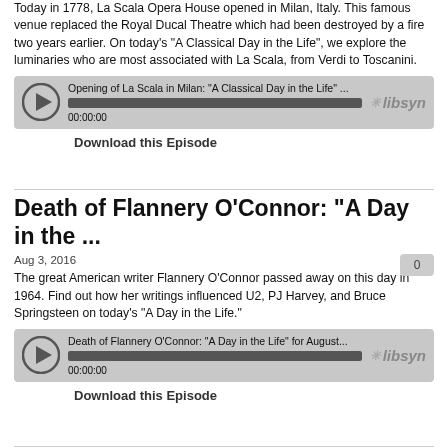Today in 1778, La Scala Opera House opened in Milan, Italy. This famous venue replaced the Royal Ducal Theatre which had been destroyed by a fire two years earlier. On today's "A Classical Day in the Life", we explore the luminaries who are most associated with La Scala, from Verdi to Toscanini.
[Figure (other): Libsyn audio player for 'Opening of La Scala in Milan: "A Classical Day in the Life" ...' showing progress bar and 00:00:00 timestamp]
Download this Episode
Death of Flannery O'Connor: "A Day in the ...
Aug 3, 2016
The great American writer Flannery O'Connor passed away on this day in 1964. Find out how her writings influenced U2, PJ Harvey, and Bruce Springsteen on today's "A Day in the Life."
[Figure (other): Libsyn audio player for 'Death of Flannery O'Connor: "A Day in the Life" for August...' showing progress bar and 00:00:00 timestamp]
Download this Episode